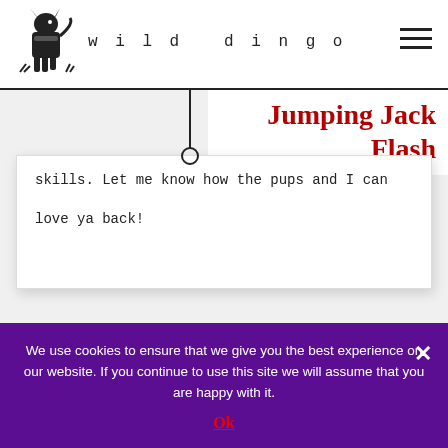wild dingo
Jumping Jack Flash
skills. Let me know how the pups and I can love ya back!
We use cookies to ensure that we give you the best experience on our website. If you continue to use this site we will assume that you are happy with it.
Ok